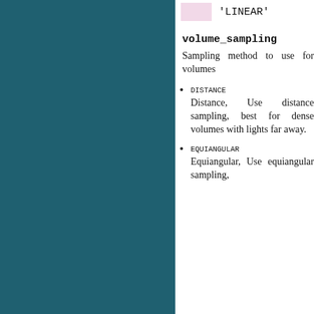'LINEAR'
volume_sampling
Sampling method to use for volumes
DISTANCE
Distance, Use distance sampling, best for dense volumes with lights far away.
EQUIANGULAR
Equiangular, Use equiangular sampling